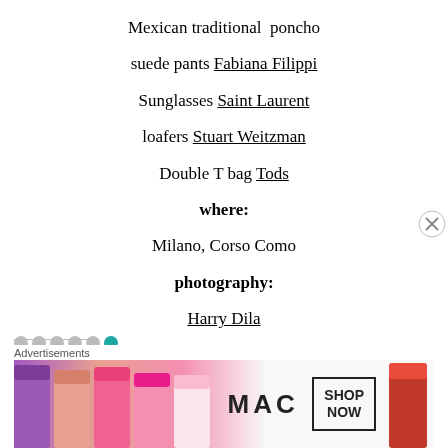Mexican traditional poncho
suede pants Fabiana Filippi
Sunglasses Saint Laurent
loafers Stuart Weitzman
Double T bag Tods
where:
Milano, Corso Como
photography:
Harry Dila
[Figure (screenshot): Advertisement banner with MAC cosmetics lipsticks and SHOP NOW button]